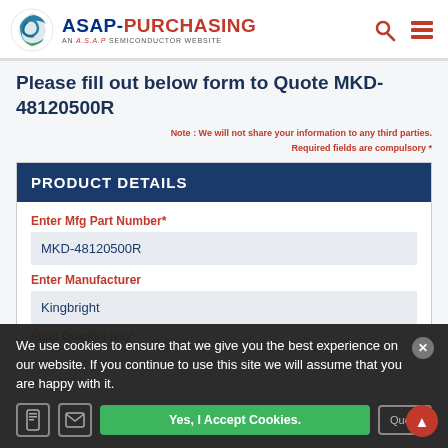ASAP-PURCHASING AN A.S.A.P SEMICONDUCTOR WEBSITE
Please fill out below form to Quote MKD-48120500R
Note : We will not share your information to any third parties. Required fields are compulsory *
PRODUCT DETAILS
Enter Mfg Part Number*
MKD-48120500R
Enter Manufacturer
Kingbright
Enter Quantity (ea)*
We use cookies to ensure that we give you the best experience on our website. If you continue to use this site we will assume that you are happy with it.
Yes, I Accept Cookies.